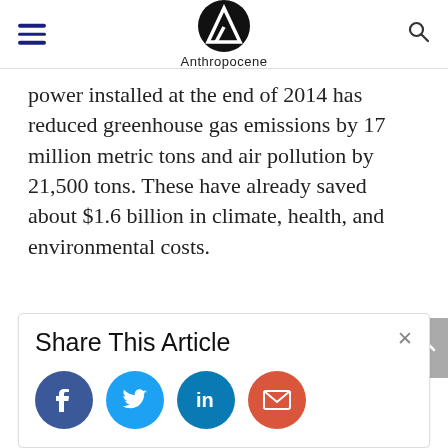Anthropocene
power installed at the end of 2014 has reduced greenhouse gas emissions by 17 million metric tons and air pollution by 21,500 tons. These have already saved about $1.6 billion in climate, health, and environmental costs.
Share This Article